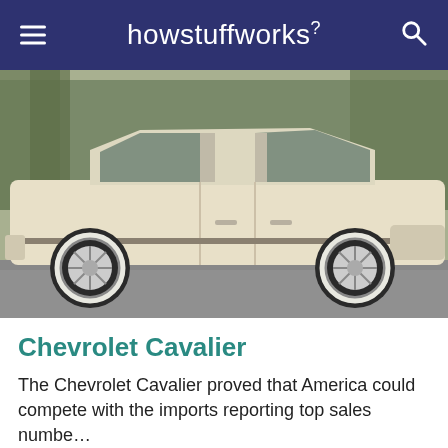howstuffworks
[Figure (photo): Side profile photograph of a cream/white Chevrolet Cavalier sedan parked on a street, with trees visible in the background. The car has white-wall tires and wire spoke hubcaps.]
Chevrolet Cavalier
The Chevrolet Cavalier proved that America could compete with the imports reporting top sales numbe…
By the Auto Editors of Consumer Guide